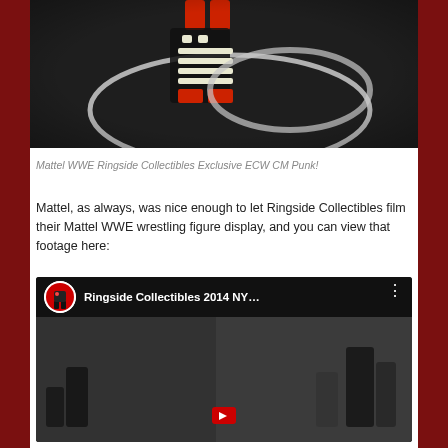[Figure (photo): Close-up photo of Mattel WWE action figures including a skeleton-design figure with red boots, displayed with a silver championship belt prop]
Mattel WWE Ringside Collectibles Exclusive ECW CM Punk!
Mattel, as always, was nice enough to let Ringside Collectibles film their Mattel WWE wrestling figure display, and you can view that footage here:
[Figure (screenshot): YouTube video embed showing 'Ringside Collectibles 2014 NY...' with channel avatar showing a wrestling figure, and video thumbnail showing WWE figures in a display setting]